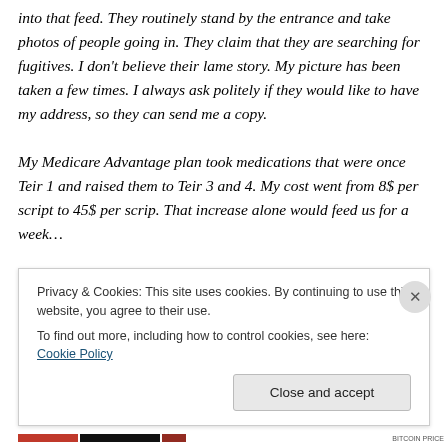into that feed. They routinely stand by the entrance and take photos of people going in. They claim that they are searching for fugitives. I don't believe their lame story. My picture has been taken a few times. I always ask politely if they would like to have my address, so they can send me a copy.

My Medicare Advantage plan took medications that were once Teir 1 and raised them to Teir 3 and 4. My cost went from 8$ per script to 45$ per scrip. That increase alone would feed us for a week...
Privacy & Cookies: This site uses cookies. By continuing to use this website, you agree to their use.
To find out more, including how to control cookies, see here: Cookie Policy